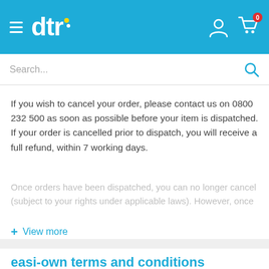dtr [logo with hamburger menu, user icon, cart icon with 0]
Search...
If you wish to cancel your order, please contact us on 0800 232 500 as soon as possible before your item is dispatched. If your order is cancelled prior to dispatch, you will receive a full refund, within 7 working days.
Once orders have been dispatched, you can no longer cancel (subject to your rights under applicable laws). However, once
+ View more
easi-own terms and conditions